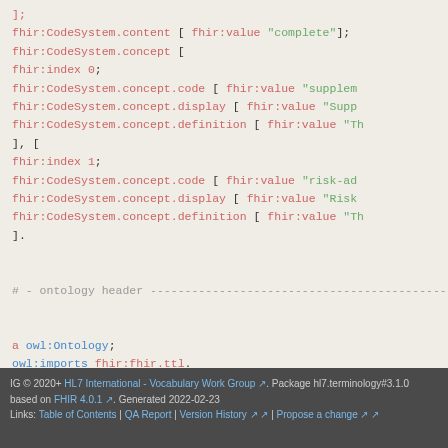[Figure (screenshot): Code block showing FHIR Turtle (TTL) ontology syntax with fhir:CodeSystem.content, fhir:CodeSystem.concept entries with index 0 and 1, and ontology header with owl:Ontology and owl:imports statements]
IG © 2020+ HL7 International - Vocabulary Work Group. Package hl7.terminology#3.1.0 based on FHIR 4.0.1. Generated 2022-02-23 Links: Table of Contents | QA Report | Version History | Propose a change